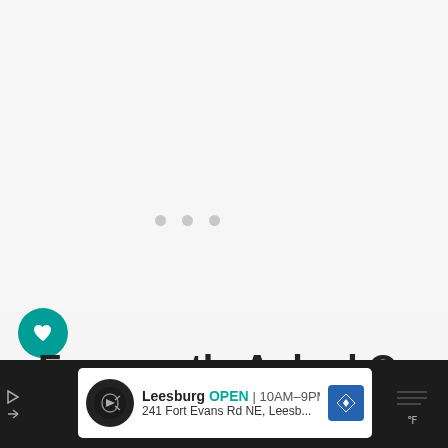[Figure (screenshot): Light gray upper section with three loading dots (gray circles) in the center, indicating content loading]
[Figure (screenshot): Social sidebar with teal heart/like button circle, count number 1, and white share button circle]
Frequently Asked Questions
WHAT'S NEXT → Forgot Parental...
Now that you know how to root Kindle Fire using
[Figure (screenshot): Dark bottom bar with advertisement banner showing Leesburg OPEN 10AM-9PM, 241 Fort Evans Rd NE, Leesb... with map icon, and temperature widget on right]